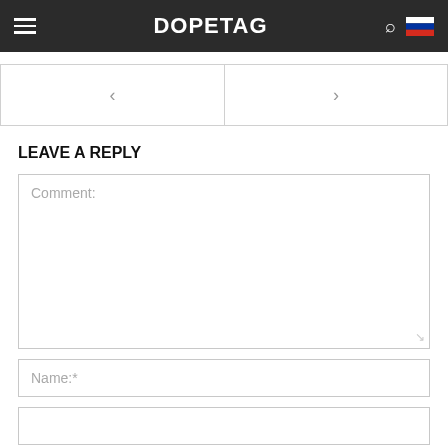DOPETAG
[Figure (screenshot): Navigation arrows: left arrow on left panel, right arrow on right panel, both inside bordered boxes]
LEAVE A REPLY
Comment:
Name:*